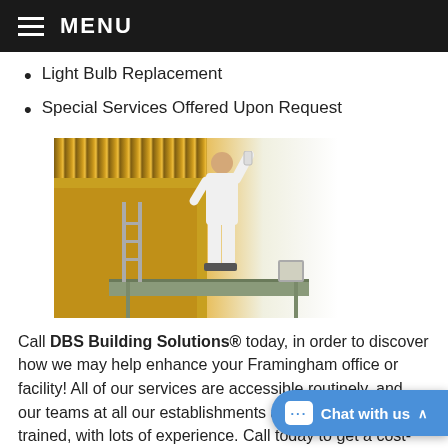MENU
Light Bulb Replacement
Special Services Offered Upon Request
[Figure (photo): A painter dressed in white stands on a scaffold painting a wall white, with a wooden slatted ceiling visible above.]
Call DBS Building Solutions® today, in order to discover how we may help enhance your Framingham office or facility! All of our services are accessible routinely, and our teams at all our establishments are extensively trained, with lots of experience. Call today to get a cost-